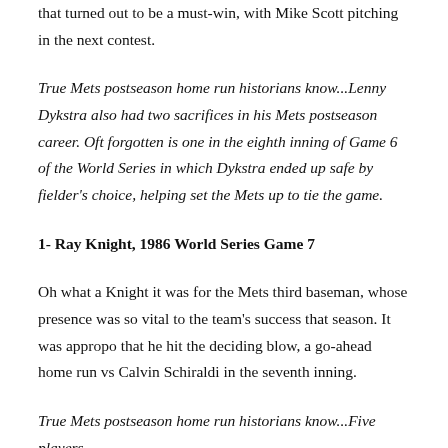that turned out to be a must-win, with Mike Scott pitching in the next contest.
True Mets postseason home run historians know...Lenny Dykstra also had two sacrifices in his Mets postseason career. Oft forgotten is one in the eighth inning of Game 6 of the World Series in which Dykstra ended up safe by fielder's choice, helping set the Mets up to tie the game.
1- Ray Knight, 1986 World Series Game 7
Oh what a Knight it was for the Mets third baseman, whose presence was so vital to the team's success that season. It was appropo that he hit the deciding blow, a go-ahead home run vs Calvin Schiraldi in the seventh inning.
True Mets postseason home run historians know...Five players